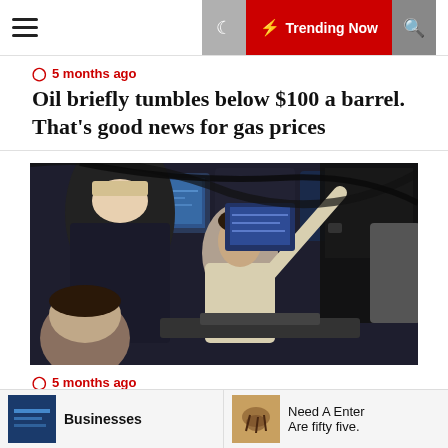Trending Now
5 months ago
Oil briefly tumbles below $100 a barrel. That's good news for gas prices
[Figure (photo): Stock market traders at workstations with multiple monitors in a trading floor environment, one trader pointing upward]
5 months ago
Stock futures little changed after S&P 500 hits a death cross
Businesses
Need A Enter Are fifty five.